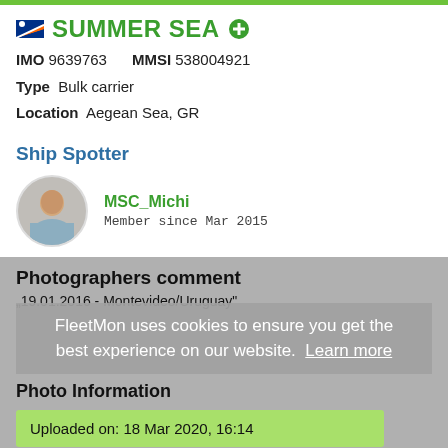SUMMER SEA
IMO 9639763  MMSI 538004921
Type  Bulk carrier
Location  Aegean Sea, GR
Ship Spotter
MSC_Michi
Member since Mar 2015
Photographers comment
"19.01.2016 - Montevideo/Uruguay"
FleetMon uses cookies to ensure you get the best experience on our website.  Learn more
Photo Information
Uploaded on: 18 Mar 2020, 16:14
Taken on: 2016-01-19 08:28:21